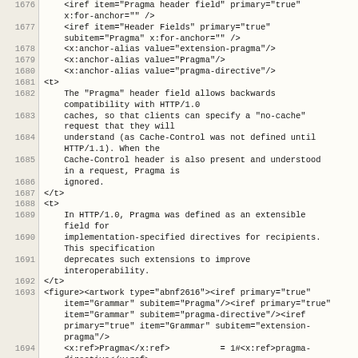| line | code |
| --- | --- |
| 1676 |     <iref item="Pragma header field" primary="true"
    x:for-anchor="" /> |
| 1677 |     <iref item="Header Fields" primary="true"
    subitem="Pragma" x:for-anchor="" /> |
| 1678 |     <x:anchor-alias value="extension-pragma"/> |
| 1679 |     <x:anchor-alias value="Pragma"/> |
| 1680 |     <x:anchor-alias value="pragma-directive"/> |
| 1681 | <t> |
| 1682 |     The "Pragma" header field allows backwards
    compatibility with HTTP/1.0 |
| 1683 |     caches, so that clients can specify a "no-cache"
    request that they will |
| 1684 |     understand (as Cache-Control was not defined until
    HTTP/1.1). When the |
| 1685 |     Cache-Control header is also present and understood
    in a request, Pragma is |
| 1686 |     ignored. |
| 1687 | </t> |
| 1688 | <t> |
| 1689 |     In HTTP/1.0, Pragma was defined as an extensible
    field for |
| 1690 |     implementation-specified directives for recipients.
    This specification |
| 1691 |     deprecates such extensions to improve
    interoperability. |
| 1692 | </t> |
| 1693 | <figure><artwork type="abnf2616"><iref primary="true"
    item="Grammar" subitem="Pragma"/><iref primary="true"
    item="Grammar" subitem="pragma-directive"/><iref
    primary="true" item="Grammar" subitem="extension-
    pragma"/> |
| 1694 |     <x:ref>Pragma</x:ref>          = 1#<x:ref>pragma-
    directive</x:ref> |
| 1695 |     <x:ref>pragma-directive</x:ref> = "no-cache" /
    <x:ref>extension-pragma</x:ref> |